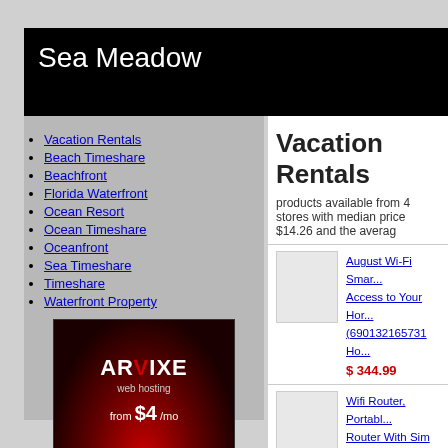Sea Meadow
Vacation Rentals
Beach Timeshare
Beachfront
Florida Waterfront
Ocean Resort
Ocean Timeshare
Oceanfront
Sea Timeshare
Timeshare
Waterfront Property
[Figure (illustration): ARVIXE web hosting advertisement banner showing red dots on dark background, with text 'from $4 /mo']
Vacation Rentals
products available from 4 stores with median price $14.26 and the averag
August Wi-Fi Smar... Access to Your Hor... (690132165731 Ho... $ 344.99
Wifi Router, Portabl... Router With Sim Ca... Vacation Rentals C... Bridges & Routers)... $ 218.99
nu-set 7030-3 eyec...